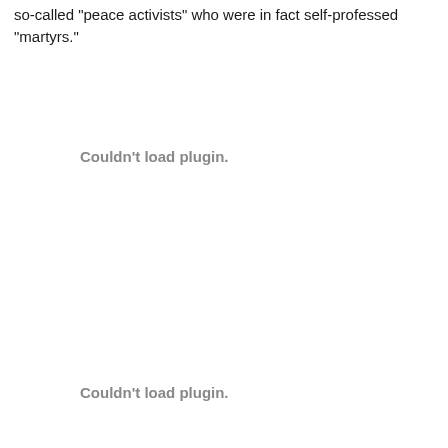so-called "peace activists" who were in fact self-professed "martyrs."
[Figure (other): Couldn't load plugin.]
[Figure (other): Couldn't load plugin.]